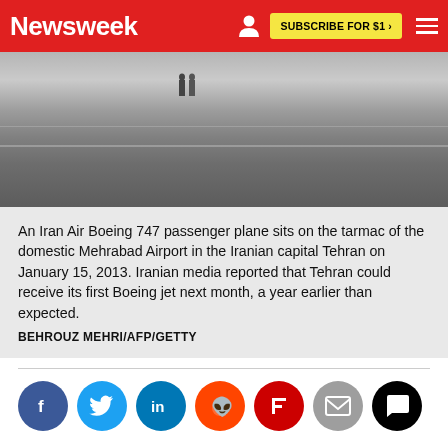Newsweek | SUBSCRIBE FOR $1 >
[Figure (photo): An Iran Air Boeing 747 passenger plane on the tarmac of Mehrabad Airport in Tehran]
An Iran Air Boeing 747 passenger plane sits on the tarmac of the domestic Mehrabad Airport in the Iranian capital Tehran on January 15, 2013. Iranian media reported that Tehran could receive its first Boeing jet next month, a year earlier than expected.
BEHROUZ MEHRI/AFP/GETTY
[Figure (infographic): Social media sharing icons: Facebook, Twitter, LinkedIn, Reddit, Flipboard, Email, Comments]
WORLD
IRAN
BOEING
AVIATION
OBAMA